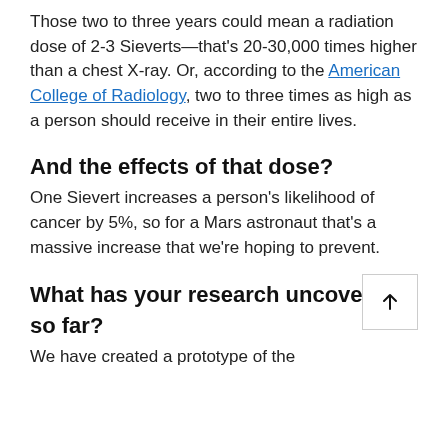Those two to three years could mean a radiation dose of 2-3 Sieverts—that's 20-30,000 times higher than a chest X-ray. Or, according to the American College of Radiology, two to three times as high as a person should receive in their entire lives.
And the effects of that dose?
One Sievert increases a person's likelihood of cancer by 5%, so for a Mars astronaut that's a massive increase that we're hoping to prevent.
What has your research uncovered so far?
We have created a prototype of the